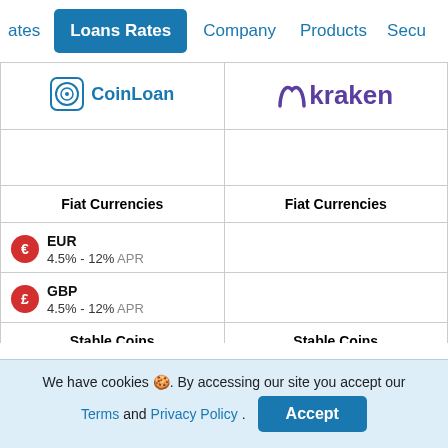ates | Loans Rates | Company | Products | Secu
| CoinLoan | Kraken |
| --- | --- |
| Fiat Currencies | Fiat Currencies |
| EUR
4.5% - 12% APR |  |
| GBP
4.5% - 12% APR |  |
| Stable Coins | Stable Coins |
| BUSD |  |
We have cookies 🍪. By accessing our site you accept our Terms and Privacy Policy.